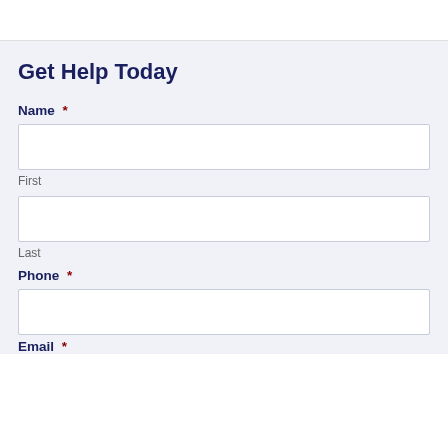Get Help Today
Name *
First
Last
Phone *
Email *